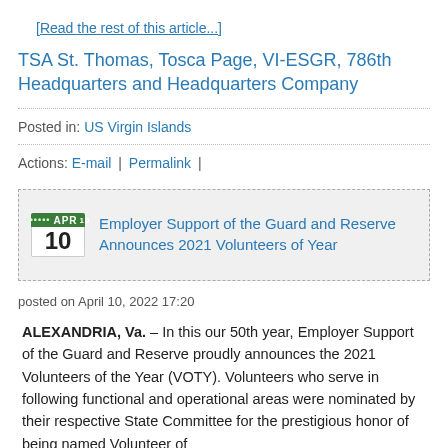[Read the rest of this article...]
TSA St. Thomas, Tosca Page, VI-ESGR, 786th Headquarters and Headquarters Company
Posted in: US Virgin Islands
Actions: E-mail | Permalink |
Employer Support of the Guard and Reserve Announces 2021 Volunteers of Year
posted on April 10, 2022 17:20
ALEXANDRIA, Va. – In this our 50th year, Employer Support of the Guard and Reserve proudly announces the 2021 Volunteers of the Year (VOTY). Volunteers who serve in following functional and operational areas were nominated by their respective State Committee for the prestigious honor of being named Volunteer of